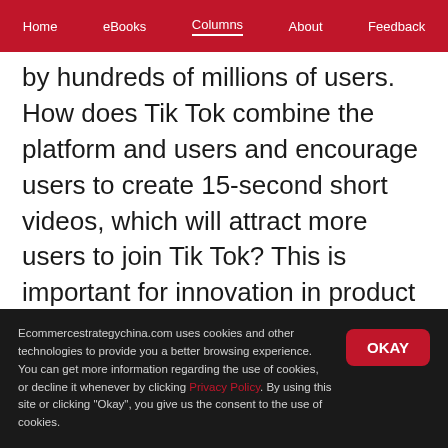Home  eBooks  Columns  About  Feedback
by hundreds of millions of users. How does Tik Tok combine the platform and users and encourage users to create 15-second short videos, which will attract more users to join Tik Tok? This is important for innovation in product design.
(1) Music guide show
Ecommercestrategychina.com uses cookies and other technologies to provide you a better browsing experience. You can get more information regarding the use of cookies, or decline it whenever by clicking Privacy Policy. By using this site or clicking "Okay", you give us the consent to the use of cookies.